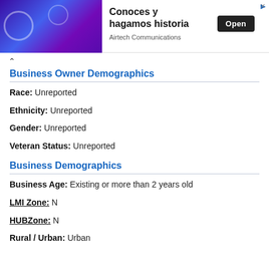[Figure (photo): Advertisement banner: photo of young people on purple/blue gradient background with text 'Conoces y hagamos historia', 'Airtech Communications', and an 'Open' button]
Business Owner Demographics
Race: Unreported
Ethnicity: Unreported
Gender: Unreported
Veteran Status: Unreported
Business Demographics
Business Age: Existing or more than 2 years old
LMI Zone: N
HUBZone: N
Rural / Urban: Urban